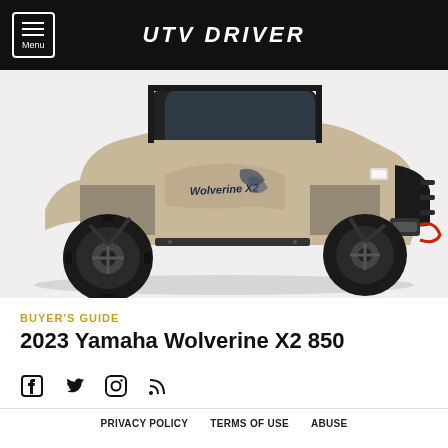UTV DRIVER
[Figure (photo): 2023 Yamaha Wolverine X2 850 side-by-side UTV in tan/black color on white background, showing aggressive off-road tires and winch]
BUYER'S GUIDE
2023 Yamaha Wolverine X2 850
[Figure (other): Social media icons: Facebook, Twitter, Instagram, RSS feed]
PRIVACY POLICY   TERMS OF USE   ABUSE